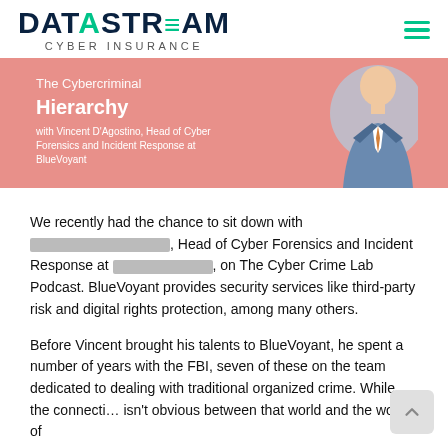DATASTREAM CYBER INSURANCE
[Figure (illustration): Banner image with salmon/pink background showing 'The Cybercriminal Hierarchy with Vincent D'Agostino, Head of Cyber Forensics and Incident Response at BlueVoyant' text and a illustrated figure of a person in a suit on the right side.]
We recently had the chance to sit down with [REDACTED], Head of Cyber Forensics and Incident Response at [REDACTED], on The Cyber Crime Lab Podcast. BlueVoyant provides security services like third-party risk and digital rights protection, among many others.
Before Vincent brought his talents to BlueVoyant, he spent a number of years with the FBI, seven of these on the team dedicated to dealing with traditional organized crime. While the connecti… isn't obvious between that world and the world of